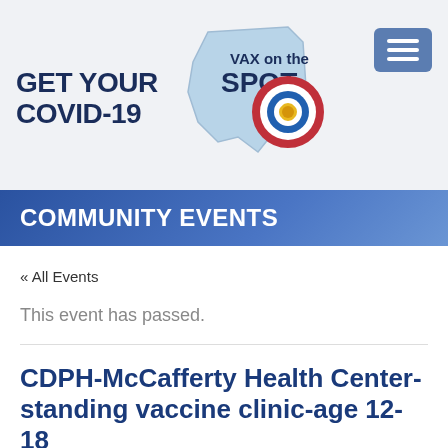[Figure (logo): GET YOUR COVID-19 VAX on the SPOT logo with Ohio state shape in light blue and a bullseye target with coronavirus icon]
COMMUNITY EVENTS
« All Events
This event has passed.
CDPH-McCafferty Health Center-standing vaccine clinic-age 12-18